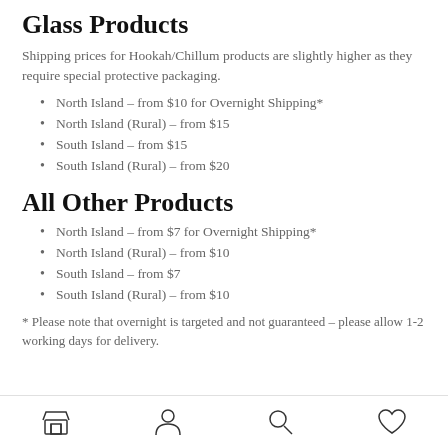Glass Products
Shipping prices for Hookah/Chillum products are slightly higher as they require special protective packaging.
North Island – from $10 for Overnight Shipping*
North Island (Rural) – from $15
South Island – from $15
South Island (Rural) – from $20
All Other Products
North Island – from $7 for Overnight Shipping*
North Island (Rural) – from $10
South Island – from $7
South Island (Rural) – from $10
* Please note that overnight is targeted and not guaranteed – please allow 1-2 working days for delivery.
Navigation bar with store, account, search, and wishlist icons